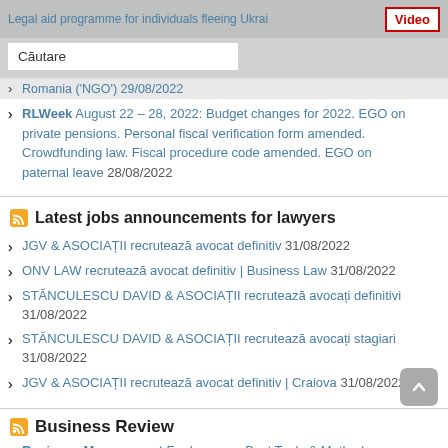Legal aid programme for individuals fleeing Ukraine Romania ('NGO') 29/08/2022
RLWeek August 22 – 28, 2022: Budget changes for 2022. EGO on private pensions. Personal fiscal verification form amended. Crowdfunding law. Fiscal procedure code amended. EGO on paternal leave 28/08/2022
Latest jobs announcements for lawyers
JGV & ASOCIAȚII recrutează avocat definitiv 31/08/2022
ONV LAW recrutează avocat definitiv | Business Law 31/08/2022
STĂNCULESCU DAVID & ASOCIAȚII recrutează avocați definitivi 31/08/2022
STĂNCULESCU DAVID & ASOCIAȚII recrutează avocați stagiari 31/08/2022
JGV & ASOCIAȚII recrutează avocat definitiv | Craiova 31/08/2022
Business Review
Business Management For Lawyers: Best Tools & Methods